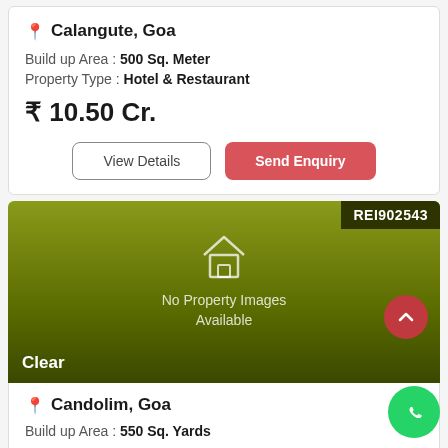Calangute, Goa
Build up Area : 500 Sq. Meter
Property Type : Hotel & Restaurant
₹ 10.50 Cr.
View Details | Send Enquiry
[Figure (screenshot): Olive/dark green gradient property card placeholder with house icon, 'No Property Images Available' text, REI902543 badge in top right, 'Clear' label in bottom left, scroll-up red button on right]
Candolim, Goa
Build up Area : 550 Sq. Yards